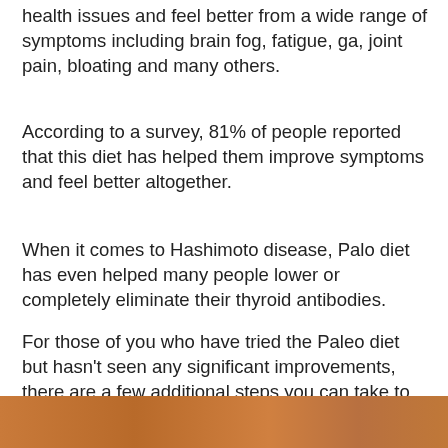health issues and feel better from a wide range of symptoms including brain fog, fatigue, ga, joint pain, bloating and many others.
According to a survey, 81% of people reported that this diet has helped them improve symptoms and feel better altogether.
When it comes to Hashimoto disease, Palo diet has even helped many people lower or completely eliminate their thyroid antibodies.
For those of you who have tried the Paleo diet but hasn't seen any significant improvements, there are a few additional steps you can take to reach the best possible results and give you the power to take back your health.
[Figure (photo): Partial photo visible at bottom of page, warm orange-brown tones]